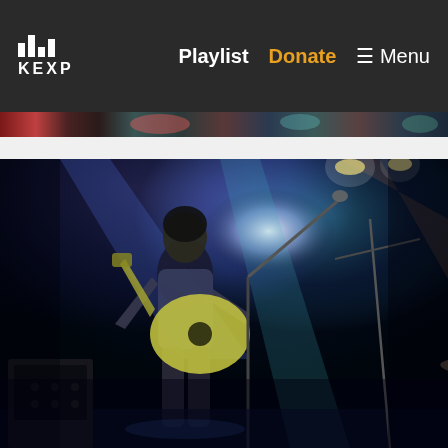KEXP — Playlist | Donate | Menu
[Figure (photo): Narrow strip of a concert photo showing colorful stage lighting with red/teal tones at the top of the page]
[Figure (photo): Concert photo showing a guitarist/vocalist playing a yellow electric guitar at a microphone stand, with blue and purple stage lighting. In the background, a drummer and another guitarist are visible. The venue is dark with dramatic stage lighting.]